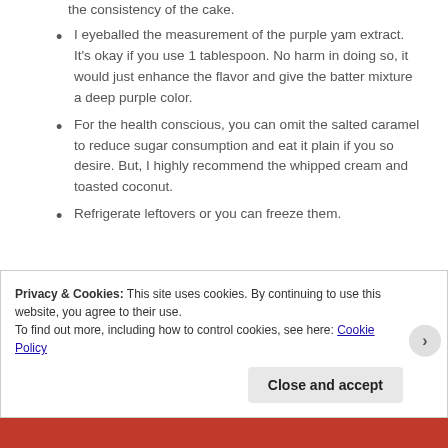Make sure the cup is firmly pushed for this will affect the consistency of the cake.
I eyeballed the measurement of the purple yam extract.  It's okay if you use 1 tablespoon.  No harm in doing so,  it would just enhance the flavor and give the batter mixture a deep purple color.
For the health conscious, you can omit the salted caramel to reduce sugar consumption and eat it plain if you so desire.  But, I highly recommend the whipped cream and toasted coconut.
Refrigerate leftovers or you can freeze them.
Privacy & Cookies: This site uses cookies. By continuing to use this website, you agree to their use.
To find out more, including how to control cookies, see here: Cookie Policy
Close and accept